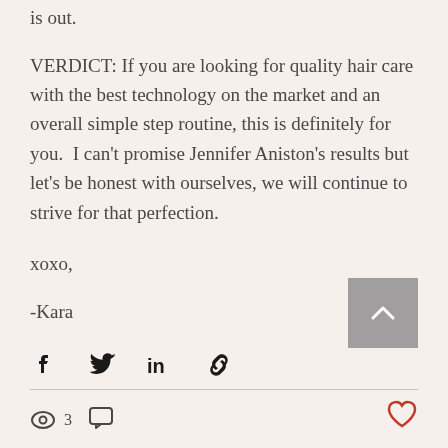is out.
VERDICT: If you are looking for quality hair care with the best technology on the market and an overall simple step routine, this is definitely for you.  I can't promise Jennifer Aniston's results but let's be honest with ourselves, we will continue to strive for that perfection.
xoxo,
-Kara
[Figure (infographic): Social share icons: Facebook, Twitter, LinkedIn, and link/chain icon. Back-to-top button (grey square with white chevron up) in the bottom right.]
3 views, comment icon, heart/like icon